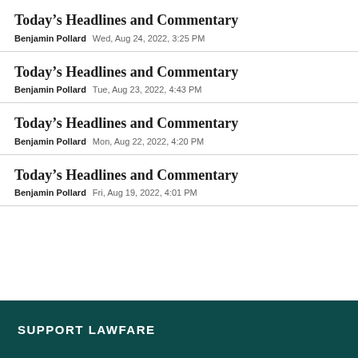Today’s Headlines and Commentary
Benjamin Pollard   Wed, Aug 24, 2022, 3:25 PM
Today’s Headlines and Commentary
Benjamin Pollard   Tue, Aug 23, 2022, 4:43 PM
Today’s Headlines and Commentary
Benjamin Pollard   Mon, Aug 22, 2022, 4:20 PM
Today’s Headlines and Commentary
Benjamin Pollard   Fri, Aug 19, 2022, 4:01 PM
SUPPORT LAWFARE